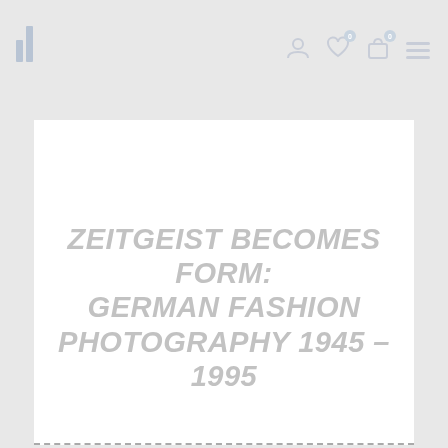Navigation header with logo and icons
ZEITGEIST BECOMES FORM: GERMAN FASHION PHOTOGRAPHY 1945 – 1995